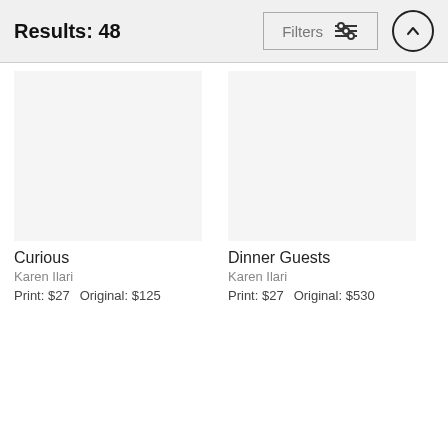Results: 48
Filters
[Figure (other): Artwork thumbnail placeholder (light gray rectangle) for 'Curious' by Karen Ilari]
Curious
Karen Ilari
Print:  $27    Original:  $125
[Figure (other): Artwork thumbnail placeholder (light gray rectangle) for 'Dinner Guests' by Karen Ilari]
Dinner Guests
Karen Ilari
Print:  $27    Original:  $530